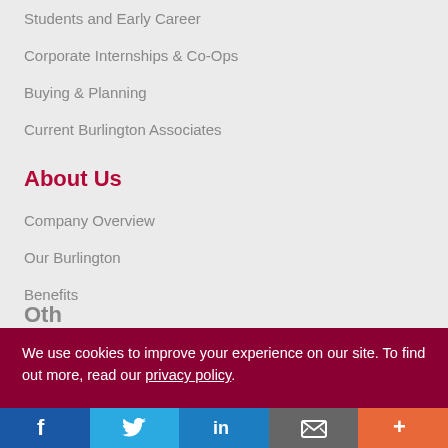Students and Early Career
Corporate Internships & Co-Ops
Buying & Planning
Current Burlington Associates
About Us
Company Overview
Our Burlington
Benefits
Social Responsibility
Investor Relations
Press/Media Room
We use cookies to improve your experience on our site. To find out more, read our privacy policy.
[Figure (infographic): Social media sharing bar with Facebook, Twitter, LinkedIn, Email, and More buttons]